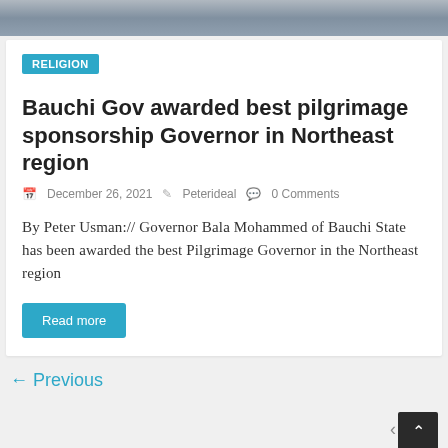[Figure (photo): Partial photo strip at top showing people in white clothing, cropped]
RELIGION
Bauchi Gov awarded best pilgrimage sponsorship Governor in Northeast region
December 26, 2021  Peterideal  0 Comments
By Peter Usman:// Governor Bala Mohammed of Bauchi State has been awarded the best Pilgrimage Governor in the Northeast region
Read more
← Previous